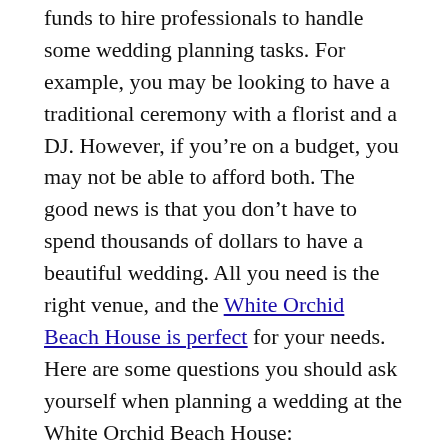funds to hire professionals to handle some wedding planning tasks. For example, you may be looking to have a traditional ceremony with a florist and a DJ. However, if you're on a budget, you may not be able to afford both. The good news is that you don't have to spend thousands of dollars to have a beautiful wedding. All you need is the right venue, and the White Orchid Beach House is perfect for your needs. Here are some questions you should ask yourself when planning a wedding at the White Orchid Beach House:
Planning Your Dream Wedding
Planning your dream wedding can be a stressful